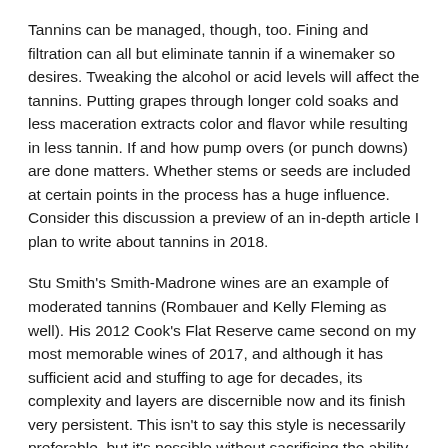Tannins can be managed, though, too. Fining and filtration can all but eliminate tannin if a winemaker so desires. Tweaking the alcohol or acid levels will affect the tannins. Putting grapes through longer cold soaks and less maceration extracts color and flavor while resulting in less tannin. If and how pump overs (or punch downs) are done matters. Whether stems or seeds are included at certain points in the process has a huge influence. Consider this discussion a preview of an in-depth article I plan to write about tannins in 2018.
Stu Smith's Smith-Madrone wines are an example of moderated tannins (Rombauer and Kelly Fleming as well). His 2012 Cook's Flat Reserve came second on my most memorable wines of 2017, and although it has sufficient acid and stuffing to age for decades, its complexity and layers are discernible now and its finish very persistent. This isn't to say this style is necessarily preferable, but it's possible without sacrificing the ability to improve with age.
The visit to Silverado Vineyards cemented this realization for me. There we tasted 2012-2013-2014 verticals of their GEO and SOLO wines, which are both 100% cabernet sauvignon. GEO comes entirely from their Mt. George Vineyard, while SOLO is sourced exclusively from their Stags Lead